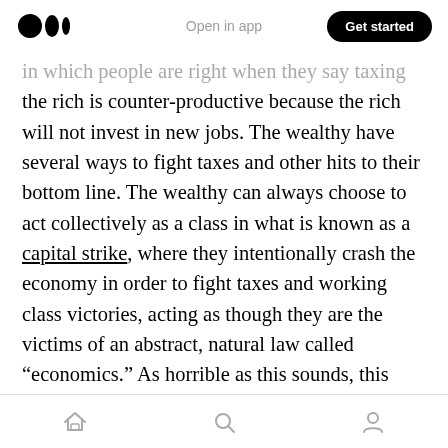Medium logo | Open in app | Get started
in which people are right when they say taxing the rich is counter-productive because the rich will not invest in new jobs. The wealthy have several ways to fight taxes and other hits to their bottom line. The wealthy can always choose to act collectively as a class in what is known as a capital strike, where they intentionally crash the economy in order to fight taxes and working class victories, acting as though they are the victims of an abstract, natural law called “economics.” As horrible as this sounds, this strategy is rational. The wealthy recognize that their long term interests are under threat. If they
Home | Search | Profile